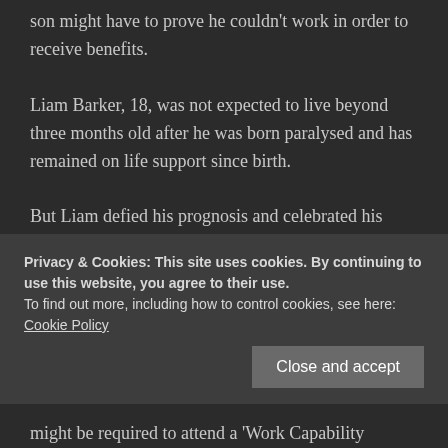son might have to prove he couldn't work in order to receive benefits.
Liam Barker, 18, was not expected to live beyond three months old after he was born paralysed and has remained on life support since birth.
But Liam defied his prognosis and celebrated his milestone birthday in December last year despite being born with an incredibly rare condition, called
Privacy & Cookies: This site uses cookies. By continuing to use this website, you agree to their use.
To find out more, including how to control cookies, see here: Cookie Policy
might be required to attend a 'Work Capability